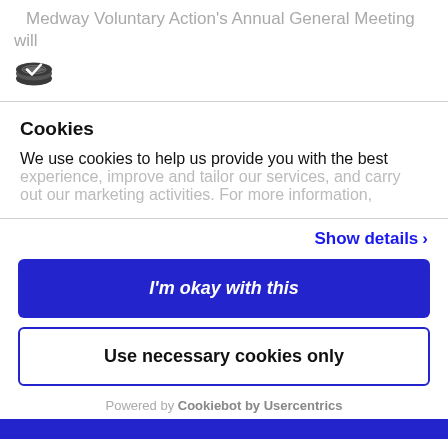Medway Voluntary Action's Annual General Meeting will
Cookies
We use cookies to help us provide you with the best experience, improve and tailor our services, and carry out our marketing activities. For more information,
Show details ›
I'm okay with this
Use necessary cookies only
Powered by Cookiebot by Usercentrics